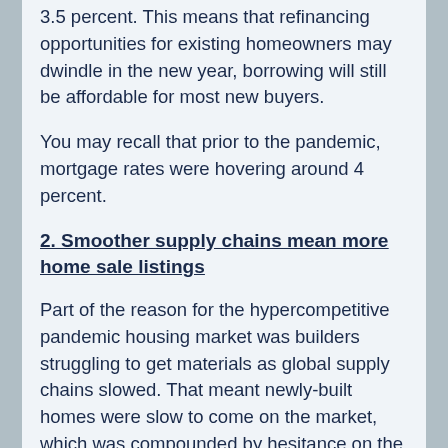3.5 percent. This means that refinancing opportunities for existing homeowners may dwindle in the new year, borrowing will still be affordable for most new buyers.
You may recall that prior to the pandemic, mortgage rates were hovering around 4 percent.
2. Smoother supply chains mean more home sale listings
Part of the reason for the hypercompetitive pandemic housing market was builders struggling to get materials as global supply chains slowed. That meant newly-built homes were slow to come on the market, which was compounded by hesitance on the part of existing homeowners to list during lockdowns.
Joe Santoro points out that we still have historically low inventory levels because things